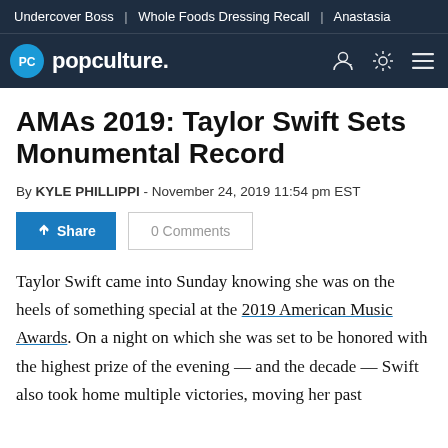Undercover Boss | Whole Foods Dressing Recall | Anastasia
PC popculture.
AMAs 2019: Taylor Swift Sets Monumental Record
By KYLE PHILLIPPI - November 24, 2019 11:54 pm EST
Taylor Swift came into Sunday knowing she was on the heels of something special at the 2019 American Music Awards. On a night on which she was set to be honored with the highest prize of the evening — and the decade — Swift also took home multiple victories, moving her past